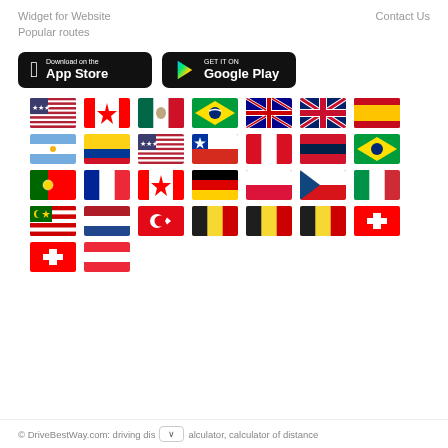Widget for Website    Contact Us
Popular routes
[Figure (screenshot): App Store and Google Play download buttons]
[Figure (illustration): Grid of country flag icons: USA, Canada, Mexico, Brazil, Australia, UK, Spain, Argentina, Colombia, USA(2), Chile, Peru, Venezuela, Brazil(2), Portugal, France, Canada(2), Germany, Poland, Czech Republic, Italy, Malaysia, Netherlands, Turkey, Belgium, Belgium(2), Belgium(3), Switzerland, Switzerland(2), Austria]
© DriveBestWay.com: driving dis[dropdown]alculator, calculator of distance